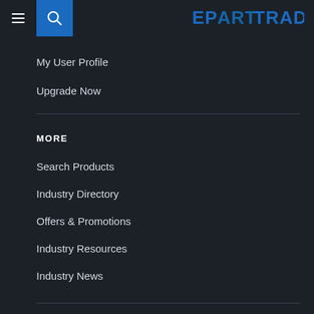[Figure (logo): EPARTRADE logo in blue with stylized lettering]
My User Profile
Upgrade Now
MORE
Search Products
Industry Directory
Offers & Promotions
Industry Resources
Industry News